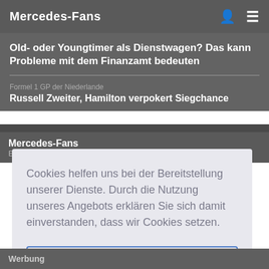Mercedes-Fans
Old- oder Youngtimer als Dienstwagen? Das kann Probleme mit dem Finanzamt bedeuten
Formel 1 GP der Niederlande
Russell Zweiter, Hamilton verpokert Siegchance
Mercedes-Fans
Ein Beobachter Fi...
Cookies helfen uns bei der Bereitstellung unserer Dienste. Durch die Nutzung unseres Angebots erklären Sie sich damit einverstanden, dass wir Cookies setzen.
Okay, verstanden
Werbung